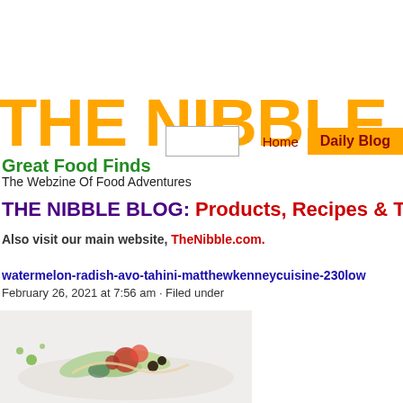THE NIBBLE
Great Food Finds
The Webzine Of Food Adventures
Home  Daily Blog
THE NIBBLE BLOG: Products, Recipes & Tren…
Also visit our main website, TheNibble.com.
watermelon-radish-avo-tahini-matthewkenneycuisine-230low
February 26, 2021 at 7:56 am · Filed under
[Figure (photo): A food photo showing a salad dish with vegetables, likely watermelon radish, avocado and tahini]